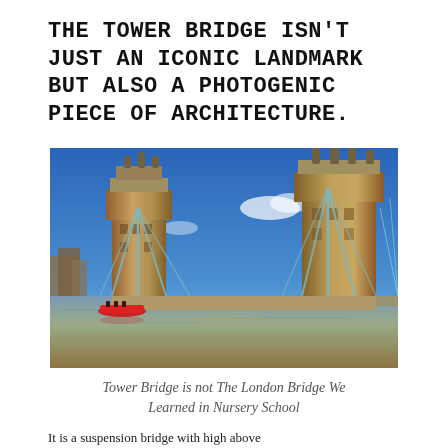THE TOWER BRIDGE ISN'T JUST AN ICONIC LANDMARK BUT ALSO A PHOTOGENIC PIECE OF ARCHITECTURE.
[Figure (photo): Photograph of Tower Bridge in London on a clear sunny day, with a red speedboat on the River Thames in the foreground. The iconic Victorian Gothic towers and blue suspension cables are visible, with blue sky and city buildings in the background.]
Tower Bridge is not The London Bridge We Learned in Nursery School
It is a suspension bridge with high above...